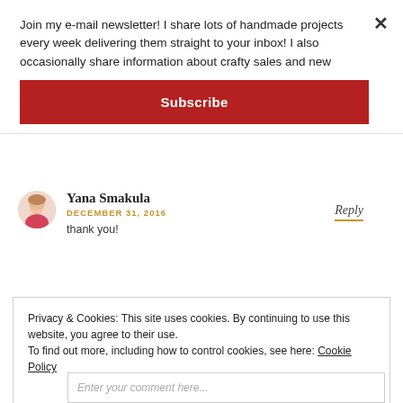Join my e-mail newsletter! I share lots of handmade projects every week delivering them straight to your inbox! I also occasionally share information about crafty sales and new
Subscribe
Yana Smakula
DECEMBER 31, 2016
thank you!
Reply
Privacy & Cookies: This site uses cookies. By continuing to use this website, you agree to their use.
To find out more, including how to control cookies, see here: Cookie Policy
Close and accept
Enter your comment here...